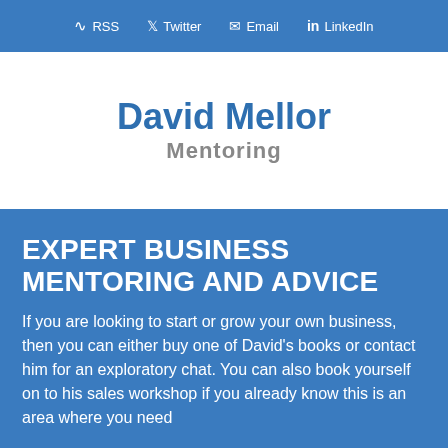RSS  Twitter  Email  LinkedIn
David Mellor Mentoring
EXPERT BUSINESS MENTORING AND ADVICE
If you are looking to start or grow your own business, then you can either buy one of David's books or contact him for an exploratory chat. You can also book yourself on to his sales workshop if you already know this is an area where you need